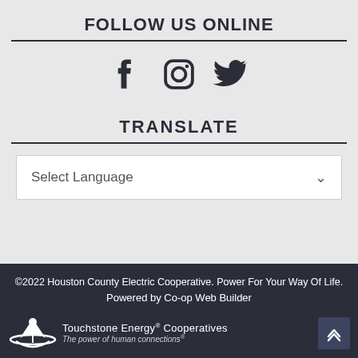FOLLOW US ONLINE
[Figure (illustration): Social media icons: Facebook, Instagram, Twitter]
TRANSLATE
Select Language
©2022 Houston County Electric Cooperative. Power For Your Way Of Life. Powered by Co-op Web Builder
[Figure (logo): Touchstone Energy Cooperatives logo with tagline: The power of human connections®]